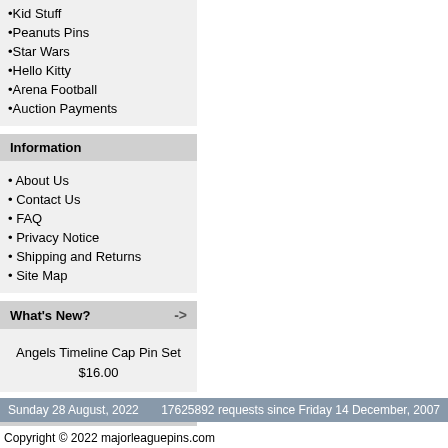•Kid Stuff
•Peanuts Pins
•Star Wars
•Hello Kitty
•Arena Football
•Auction Payments
Information
• About Us
• Contact Us
• FAQ
• Privacy Notice
• Shipping and Returns
• Site Map
What's New?
Angels Timeline Cap Pin Set $16.00
Manufacturers
Please Select
Sunday 28 August, 2022    17625892 requests since Friday 14 December, 2007
Copyright © 2022 majorleaguepins.com